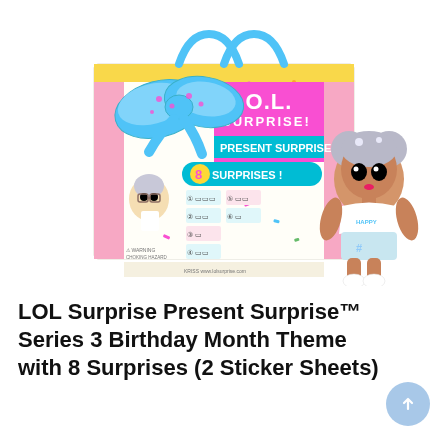[Figure (photo): Product photo of LOL Surprise Present Surprise Series 3 Birthday Month Theme box with teal handles and bow, showing 8 surprises on the packaging, alongside a small LOL doll with silver hair in a white top and light blue shorts]
LOL Surprise Present Surprise™ Series 3 Birthday Month Theme with 8 Surprises (2 Sticker Sheets)